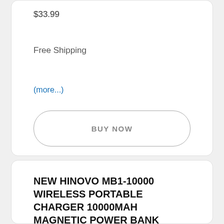$33.99
Free Shipping
(more...)
BUY NOW
NEW HINOVO MB1-10000 WIRELESS PORTABLE CHARGER 10000MAH MAGNETIC POWER BANK WIRELESS